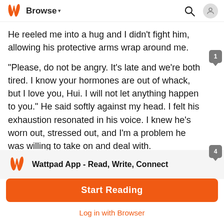Browse
He reeled me into a hug and I didn't fight him, allowing his protective arms wrap around me.
"Please, do not be angry. It's late and we're both tired. I know your hormones are out of whack, but I love you, Hui. I will not let anything happen to you." He said softly against my head. I felt his exhaustion resonated in his voice. I knew he's worn out, stressed out, and I'm a problem he was willing to take on and deal with.
I breathed him into my lungs, my hormones waning out and I felt my own exhaustion gripped me this evening. "Keep your wife
Wattpad App - Read, Write, Connect
Start Reading
Log in with Browser